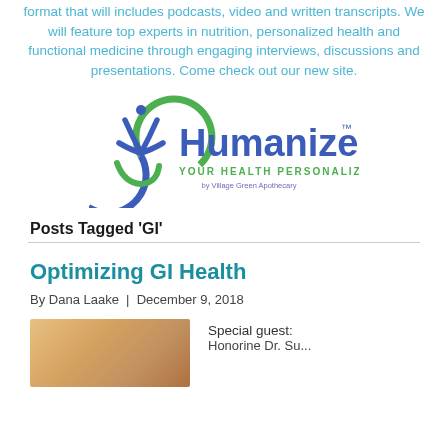format that will includes podcasts, video and written transcripts. We will feature top experts in nutrition, personalized health and functional medicine through engaging interviews, discussions and presentations. Come check out our new site.
[Figure (logo): Humanized logo — 'Humanized YOUR HEALTH PERSONALIZED by Village Green Apothecary' with a blue and green circular figure icon]
Posts Tagged 'GI'
Optimizing GI Health
By Dana Laake  |  December 9, 2018
[Figure (photo): Partial photo thumbnail, warm tones, cropped]
Special guest: Honorine Dr. Su...